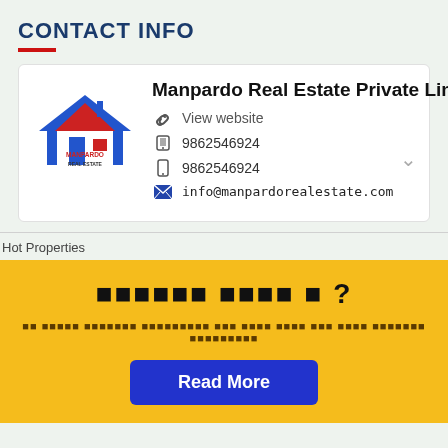CONTACT INFO
Manpardo Real Estate Private Lim
View website
9862546924
9862546924
info@manpardorealestate.com
Hot Properties
[Non-Latin script text] ?
[Non-Latin script subtitle text]
Read More